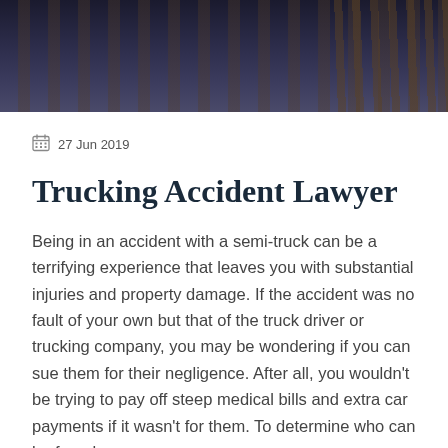[Figure (photo): Dark background hero image showing blurred books or columns, dark blue/brown tones]
27 Jun 2019
Trucking Accident Lawyer
Being in an accident with a semi-truck can be a terrifying experience that leaves you with substantial injuries and property damage. If the accident was no fault of your own but that of the truck driver or trucking company, you may be wondering if you can sue them for their negligence. After all, you wouldn't be trying to pay off steep medical bills and extra car payments if it wasn't for them. To determine who can be found